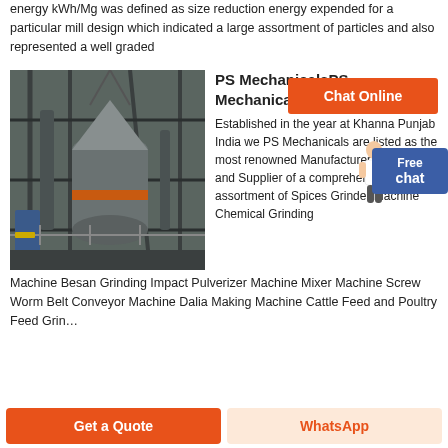energy kWh/Mg was defined as size reduction energy expended for a particular mill design which indicated a large assortment of particles and also represented a well graded
[Figure (other): Orange button labeled 'Chat Online' on orange background]
[Figure (photo): Industrial grinding mill machinery inside a factory building with metal scaffolding and large cylindrical equipment]
PS MechanicalsPS Mechanicals
Established in the year at Khanna Punjab India we PS Mechanicals are listed as the most renowned Manufacturer Exporter and Supplier of a comprehensive assortment of Spices Grinder Machine Chemical Grinding Machine Besan Grinding Impact Pulverizer Machine Mixer Machine Screw Worm Belt Conveyor Machine Dalia Making Machine Cattle Feed and Poultry Feed Grinder
[Figure (other): Blue badge with text 'Free chat']
[Figure (other): Orange button 'Get a Quote' and light orange button 'WhatsApp' at the bottom of the page]